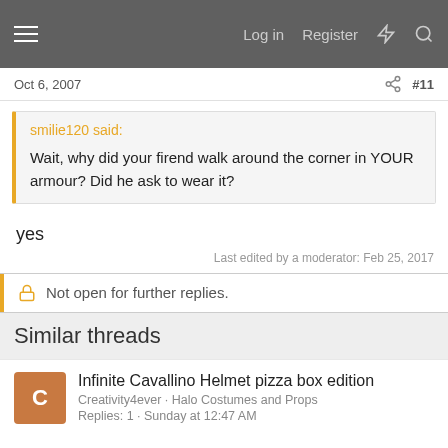Log in  Register
Oct 6, 2007  #11
smilie120 said:
Wait, why did your firend walk around the corner in YOUR armour? Did he ask to wear it?
yes
Last edited by a moderator: Feb 25, 2017
Not open for further replies.
Similar threads
Infinite Cavallino Helmet pizza box edition
Creativity4ever · Halo Costumes and Props
Replies: 1 · Sunday at 12:47 AM